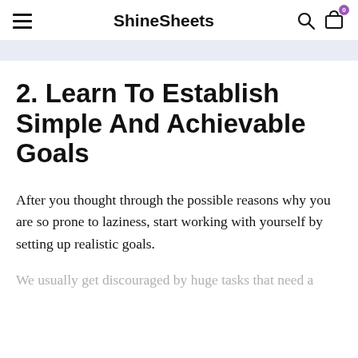ShineSheets
2. Learn To Establish Simple And Achievable Goals
After you thought through the possible reasons why you are so prone to laziness, start working with yourself by setting up realistic goals.
We usually get discouraged by huge tasks that need a